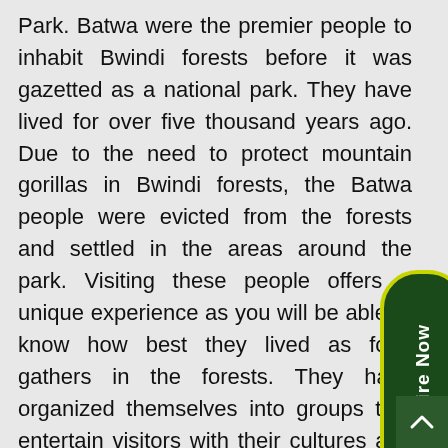Park. Batwa were the premier people to inhabit Bwindi forests before it was gazetted as a national park. They have lived for over five thousand years ago. Due to the need to protect mountain gorillas in Bwindi forests, the Batwa people were evicted from the forests and settled in the areas around the park. Visiting these people offers a unique experience as you will be able to know how best they lived as food gathers in the forests. They have organized themselves into groups that entertain visitors with their cultures and traditional ways of life including dance and dram songs, storytelling among others.